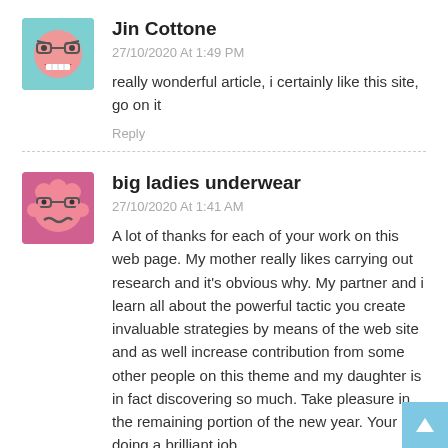[Figure (illustration): Avatar icon of a cartoon pink face with glasses and an open mouth showing teeth, on a teal background]
Jin Cottone
27/10/2020 At 1:49 PM
really wonderful article, i certainly like this site, go on it
Reply
[Figure (illustration): Avatar icon of a cartoon pink blob face with angry eyes and wavy mouth, on a pink/magenta background]
big ladies underwear
27/10/2020 At 1:41 AM
A lot of thanks for each of your work on this web page. My mother really likes carrying out research and it's obvious why. My partner and i learn all about the powerful tactic you create invaluable strategies by means of the web site and as well increase contribution from some other people on this theme and my daughter is in fact discovering so much. Take pleasure in the remaining portion of the new year. Your doing a brilliant job.
Reply